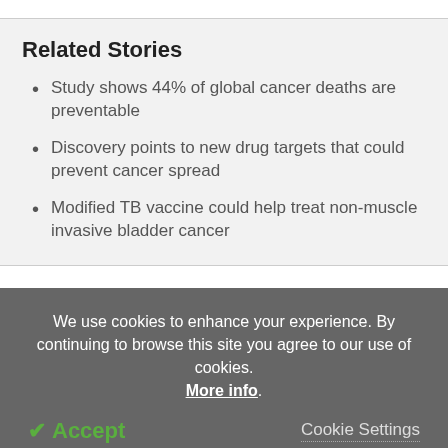Related Stories
Study shows 44% of global cancer deaths are preventable
Discovery points to new drug targets that could prevent cancer spread
Modified TB vaccine could help treat non-muscle invasive bladder cancer
We use cookies to enhance your experience. By continuing to browse this site you agree to our use of cookies. More info.